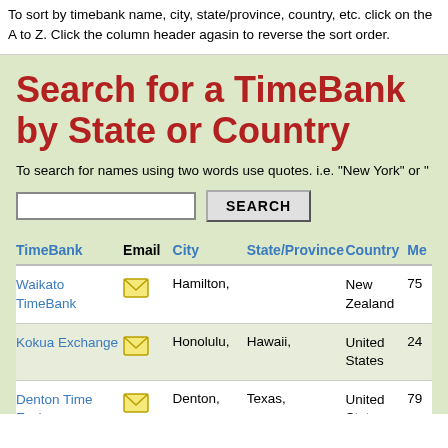To sort by timebank name, city, state/province, country, etc. click on the A to Z. Click the column header agasin to reverse the sort order.
Search for a TimeBank by State or Country
To search for names using two words use quotes. i.e. "New York" or "
| TimeBank | Email | City | State/Province | Country | Me |
| --- | --- | --- | --- | --- | --- |
| Waikato TimeBank | [email] | Hamilton, |  | New Zealand | 75 |
| Kokua Exchange | [email] | Honolulu, | Hawaii, | United States | 24 |
| Denton Time Exchange | [email] | Denton, | Texas, | United States | 79 |